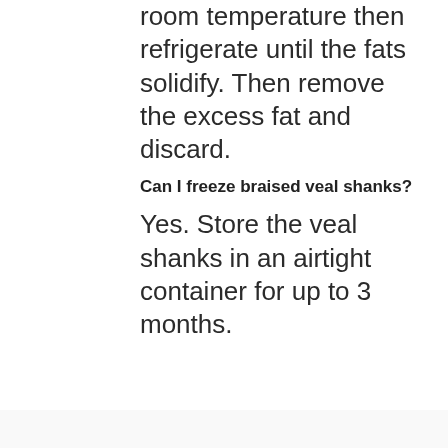room temperature then refrigerate until the fats solidify. Then remove the excess fat and discard.
Can I freeze braised veal shanks?
Yes. Store the veal shanks in an airtight container for up to 3 months.